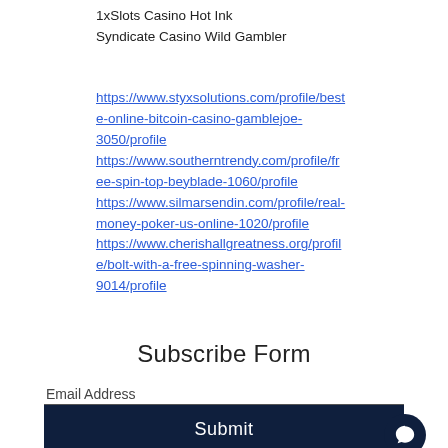1xSlots Casino Hot Ink
Syndicate Casino Wild Gambler
https://www.styxsolutions.com/profile/beste-online-bitcoin-casino-gamblejoe-3050/profile
https://www.southerntrendy.com/profile/free-spin-top-beyblade-1060/profile
https://www.silmarsendin.com/profile/real-money-poker-us-online-1020/profile
https://www.cherishallgreatness.org/profile/bolt-with-a-free-spinning-washer-9014/profile
Subscribe Form
Email Address
Submit